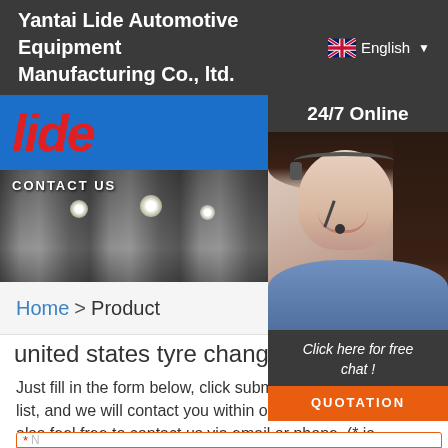Yantai Lide Automotive Equipment Manufacturing Co., ltd.
[Figure (logo): Lide company logo in red italic text on blue background]
[Figure (photo): City skyline banner with CONTACT US text overlay]
[Figure (photo): 24/7 Online customer service representative with headset, with Click here for free chat and QUOTATION button]
Home > Product
united states tyre changer bus
Just fill in the form below, click submit, you will get the price list, and we will contact you within one working day. Please also feel free to contact us via email or phone. (* is required).